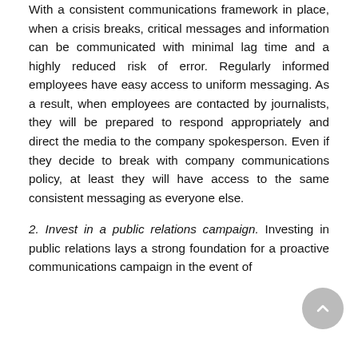With a consistent communications framework in place, when a crisis breaks, critical messages and information can be communicated with minimal lag time and a highly reduced risk of error. Regularly informed employees have easy access to uniform messaging. As a result, when employees are contacted by journalists, they will be prepared to respond appropriately and direct the media to the company spokesperson. Even if they decide to break with company communications policy, at least they will have access to the same consistent messaging as everyone else.
2. Invest in a public relations campaign. Investing in public relations lays a strong foundation for a proactive communications campaign in the event of